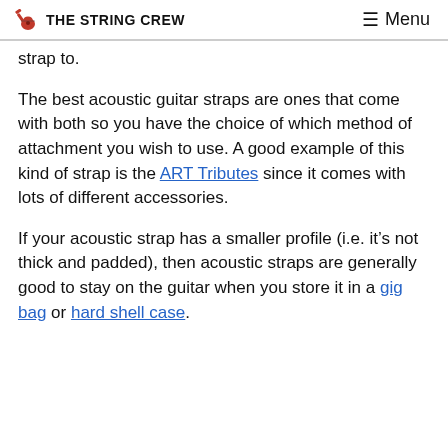THE STRING CREW | Menu
strap to.
The best acoustic guitar straps are ones that come with both so you have the choice of which method of attachment you wish to use. A good example of this kind of strap is the ART Tributes since it comes with lots of different accessories.
If your acoustic strap has a smaller profile (i.e. it’s not thick and padded), then acoustic straps are generally good to stay on the guitar when you store it in a gig bag or hard shell case.